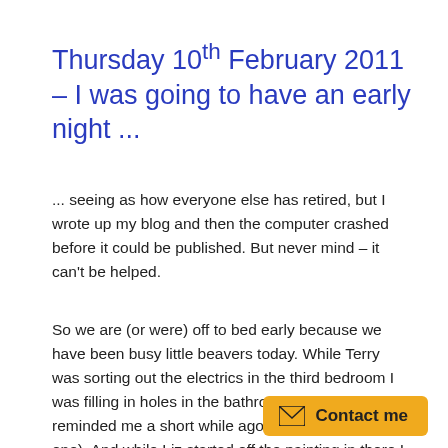Thursday 10th February 2011 – I was going to have an early night ...
... seeing as how everyone else has retired, but I wrote up my blog and then the computer crashed before it could be published. But never mind – it can't be helped.
So we are (or were) off to bed early because we have been busy little beavers today. While Terry was sorting out the electrics in the third bedroom I was filling in holes in the bathroom for Liz (who reminded me a short while ago that I have missed one). And while Liz started off the painting in there I cleaned up the half of the terrace that we stripped of tiles. It's now ready for tiling when I buy the bitumen